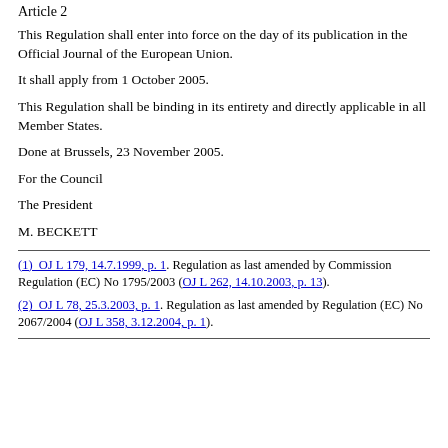Article 2
This Regulation shall enter into force on the day of its publication in the Official Journal of the European Union.
It shall apply from 1 October 2005.
This Regulation shall be binding in its entirety and directly applicable in all Member States.
Done at Brussels, 23 November 2005.
For the Council
The President
M. BECKETT
(1)  OJ L 179, 14.7.1999, p. 1. Regulation as last amended by Commission Regulation (EC) No 1795/2003 (OJ L 262, 14.10.2003, p. 13).
(2)  OJ L 78, 25.3.2003, p. 1. Regulation as last amended by Regulation (EC) No 2067/2004 (OJ L 358, 3.12.2004, p. 1).